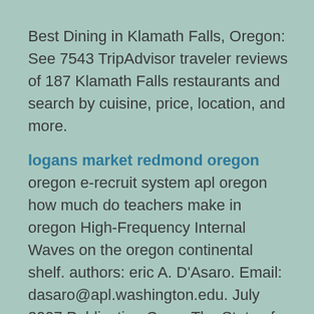Best Dining in Klamath Falls, Oregon: See 7543 TripAdvisor traveler reviews of 187 Klamath Falls restaurants and search by cuisine, price, location, and more.
logans market redmond oregon oregon e-recruit system apl oregon how much do teachers make in oregon High-Frequency Internal Waves on the oregon continental shelf. authors: eric A. D'Asaro. Email: dasaro@apl.washington.edu. July 2007 Publication Cover.The State of Oregon is excited to announce that we have transitioned our recruitment system to Workday. With Workday, you will be able to easily find and apply to open jobs on any device, including your mobile phone. Create a new account in Workday – External ApplicantsThe most complete information about